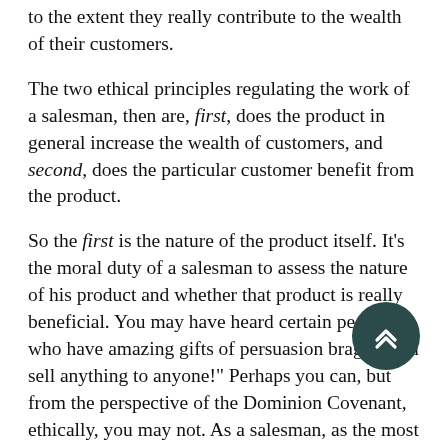to the extent they really contribute to the wealth of their customers.
The two ethical principles regulating the work of a salesman, then are, first, does the product in general increase the wealth of customers, and second, does the particular customer benefit from the product.
So the first is the nature of the product itself. It's the moral duty of a salesman to assess the nature of his product and whether that product is really beneficial. You may have heard certain people who have amazing gifts of persuasion brag, “I can sell anything to anyone!” Perhaps you can, but from the perspective of the Dominion Covenant, ethically, you may not. As a salesman, as the most active person on the market, you are under a moral duty [scroll button overlay] the products and refuse to sell what is obviously harmful and destructive to your buyers. A godly salesman,
[Figure (other): A dark teal circular scroll-to-top button with a double chevron/arrow up icon, positioned in the lower-right area of the text.]